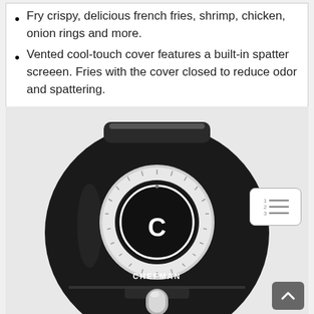Fry crispy, delicious french fries, shrimp, chicken, onion rings and more.
Vented cool-touch cover features a built-in spatter screeen. Fries with the cover closed to reduce odor and spattering.
[Figure (photo): Chefman black air fryer with a round dial control featuring the Chefman logo in the center, and a silver handle pull-out basket at the bottom. The front of the appliance shows 'CHEFMAN' text.]